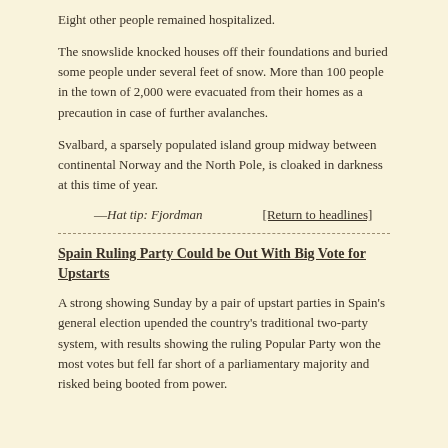Eight other people remained hospitalized.
The snowslide knocked houses off their foundations and buried some people under several feet of snow. More than 100 people in the town of 2,000 were evacuated from their homes as a precaution in case of further avalanches.
Svalbard, a sparsely populated island group midway between continental Norway and the North Pole, is cloaked in darkness at this time of year.
— Hat tip: Fjordman    [Return to headlines]
Spain Ruling Party Could be Out With Big Vote for Upstarts
A strong showing Sunday by a pair of upstart parties in Spain's general election upended the country's traditional two-party system, with results showing the ruling Popular Party won the most votes but fell far short of a parliamentary majority and risked being booted from power.